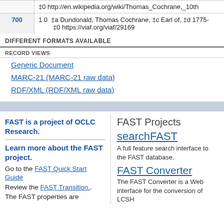|  | ‡0 http://en.wikipedia.org/wiki/Thomas_Cochrane,_10th |
| 700 | 1 0 ‡a Dundonald, Thomas Cochrane, ‡c Earl of, ‡d 1775-
‡0 https://viaf.org/viaf/29169 |
DIFFERENT FORMATS AVAILABLE
RECORD VIEWS
Generic Document
MARC-21 (MARC-21 raw data)
RDF/XML (RDF/XML raw data)
FAST is a project of OCLC Research.
Learn more about the FAST project.
Go to the FAST Quick Start Guide
Review the FAST Transition..
The FAST properties are
FAST Projects
searchFAST
A full feature search interface to the FAST database.
FAST Converter
The FAST Converter is a Web interface for the conversion of LCSH